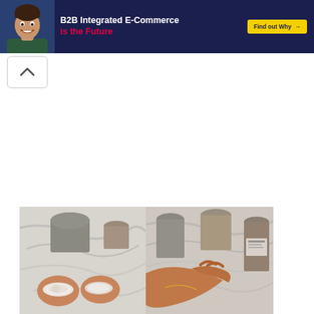[Figure (screenshot): Advertisement banner with dark navy background showing a smiling man on the left, bold white text 'B2B Integrated E-Commerce' and red text 'is the Future', and a yellow 'Find out Why →' button on the right]
[Figure (other): A collapse/scroll-up button with a caret/chevron pointing upward, white background with light border]
[Figure (photo): Two side-by-side photos of skincare/beauty products (cylindrical containers in grey/taupe tones) displayed on a white marble surface. Left photo shows open cream jars held in hands. Right photo shows a hand holding a cylindrical product container.]